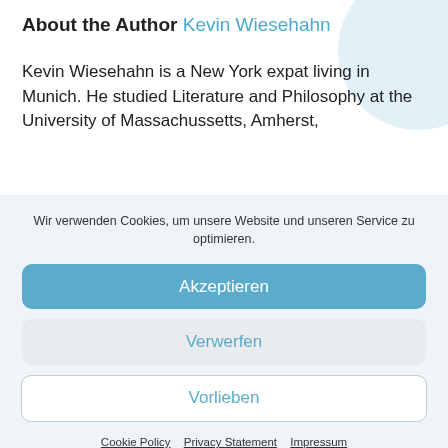About the Author Kevin Wiesehahn
Kevin Wiesehahn is a New York expat living in Munich. He studied Literature and Philosophy at the University of Massachussetts, Amherst,
Wir verwenden Cookies, um unsere Website und unseren Service zu optimieren.
Akzeptieren
Verwerfen
Vorlieben
Cookie Policy   Privacy Statement   Impressum